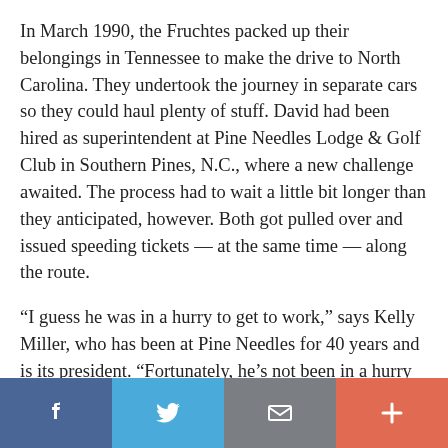In March 1990, the Fruchtes packed up their belongings in Tennessee to make the drive to North Carolina. They undertook the journey in separate cars so they could haul plenty of stuff. David had been hired as superintendent at Pine Needles Lodge & Golf Club in Southern Pines, N.C., where a new challenge awaited. The process had to wait a little bit longer than they anticipated, however. Both got pulled over and issued speeding tickets — at the same time — along the route.
“I guess he was in a hurry to get to work,” says Kelly Miller, who has been at Pine Needles for 40 years and is its president. “Fortunately, he’s not been in a hurry to leave.”
In June, Fruchte’s sturdy presence and a desire to